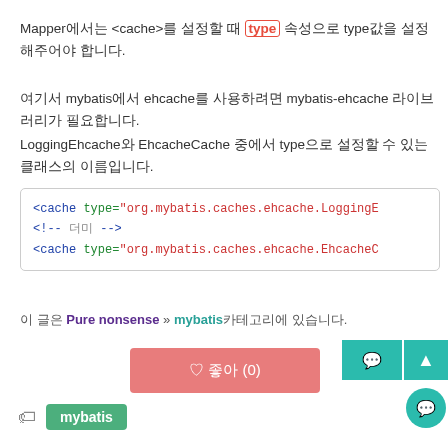Mapper에서는 <cache>를 설정할 때 type 속성으로 type값을 설정해주어야 합니다.
여기서 mybatis에서 ehcache를 사용하려면 mybatis-ehcache 라이브러리가 필요합니다.
LoggingEhcache와 EhcacheCache 중에서 type으로 설정할 수 있는 클래스의 이름입니다.
[Figure (screenshot): Code block showing XML cache configuration with LoggingEhcache and EhcacheCache types from org.mybatis.caches.ehcache package, with a comment line in between.]
이 글은 Pure nonsense » mybatis 카테고리에 있습니다.
[Figure (other): Pink heart/like button showing '♡ 좋아 (0)']
mybatis (tag)